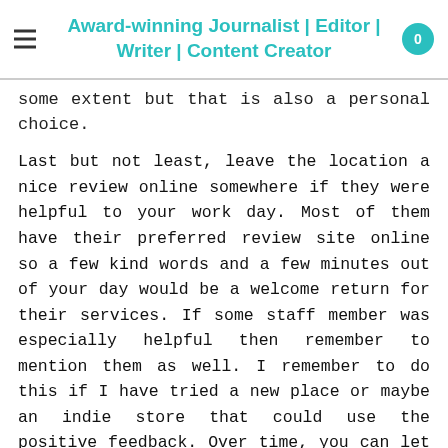Award-winning Journalist | Editor | Writer | Content Creator
some extent but that is also a personal choice.
Last but not least, leave the location a nice review online somewhere if they were helpful to your work day. Most of them have their preferred review site online so a few kind words and a few minutes out of your day would be a welcome return for their services. If some staff member was especially helpful then remember to mention them as well. I remember to do this if I have tried a new place or maybe an indie store that could use the positive feedback. Over time, you can let friends, colleagues, clients know where to meet you if they want to discus work. You also never know but sometimes story ideas come to you at